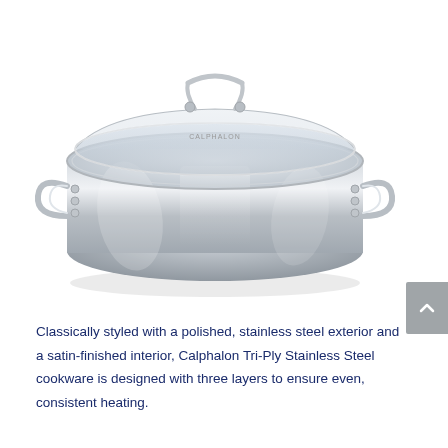[Figure (photo): A stainless steel Calphalon Tri-Ply round braiser/casserole pot with a glass lid and two side handles, polished silver finish, shown from a slightly elevated angle on a white background.]
Classically styled with a polished, stainless steel exterior and a satin-finished interior, Calphalon Tri-Ply Stainless Steel cookware is designed with three layers to ensure even, consistent heating.